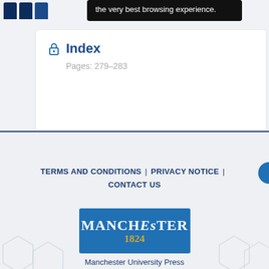the very best browsing experience.
Index
Pages: 279–283
TERMS AND CONDITIONS | PRIVACY NOTICE | CONTACT US
[Figure (logo): Manchester University Press logo — blue rectangle with 'MANCHESTER 1824' text in white and gold]
Manchester University Press